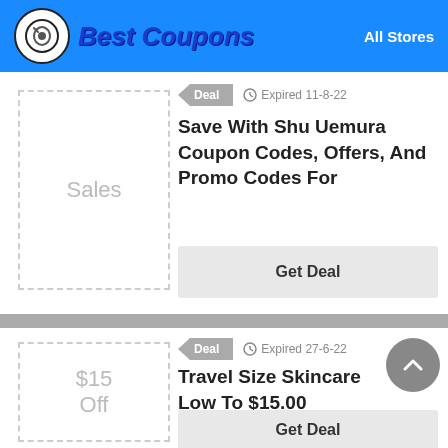Best Coupons — All Stores
[Figure (other): Sales coupon dashed placeholder box]
Deal   Expired 11-8-22
Save With Shu Uemura Coupon Codes, Offers, And Promo Codes For
Get Deal
[Figure (other): $15 Off coupon dashed placeholder box]
Deal   Expired 27-6-22
Travel Size Skincare Low To $15.00
Get Deal